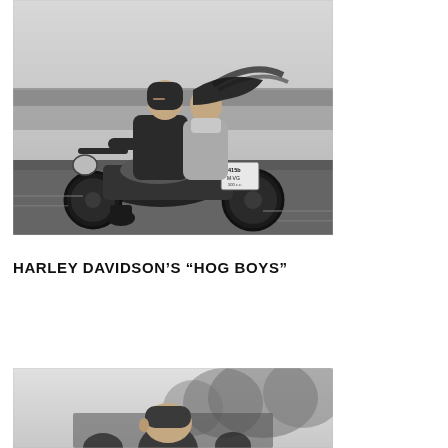[Figure (photo): Black and white photograph of a man and woman riding a motorcycle together on a road. The man is driving and the woman sits behind him with hair blowing in the wind. A license plate reads '1415b M-VG' is visible on the motorcycle.]
HARLEY DAVIDSON'S “HOG BOYS”
[Figure (photo): Black and white photograph showing a group of people, partially cropped at the bottom of the page. A person's head is visible in the foreground with trees in the background.]